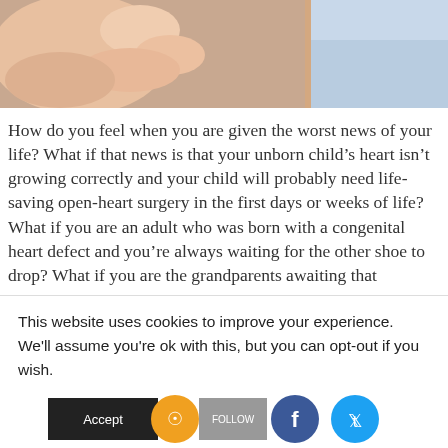[Figure (photo): Close-up photo of a newborn baby's hand and fingers, with a blue cloth/blanket visible in the upper right]
How do you feel when you are given the worst news of your life? What if that news is that your unborn child’s heart isn’t growing correctly and your child will probably need life-saving open-heart surgery in the first days or weeks of life? What if you are an adult who was born with a congenital heart defect and you’re always waiting for the other shoe to drop? What if you are the grandparents awaiting that
This website uses cookies to improve your experience. We'll assume you're ok with this, but you can opt-out if you wish.
[Figure (infographic): Accept button and social media icons: RSS (orange), Follow (grey), Facebook (blue), Twitter (light blue)]